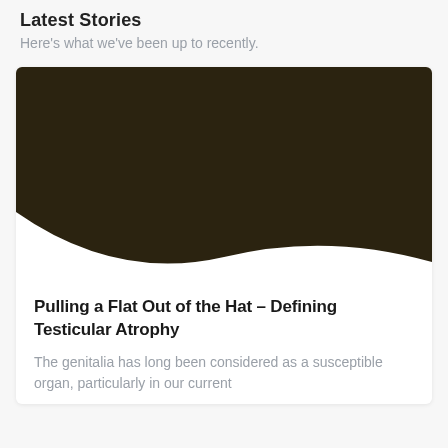Latest Stories
Here's what we've been up to recently.
[Figure (photo): Dark brown curved background image filling the top portion of an article card, with a sweeping concave curve at the bottom revealing white space]
Pulling a Flat Out of the Hat – Defining Testicular Atrophy
The genitalia has long been considered as a susceptible organ, particularly in our current